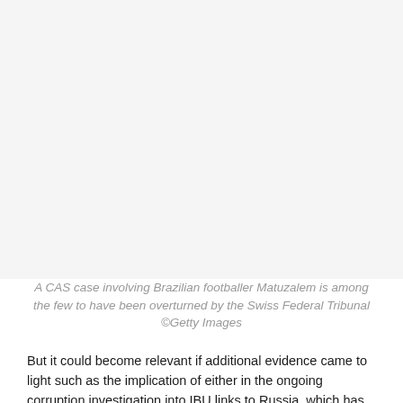[Figure (photo): Photo area — blank/white space representing an image of Brazilian footballer Matuzalem (image not visible in this page crop)]
A CAS case involving Brazilian footballer Matuzalem is among the few to have been overturned by the Swiss Federal Tribunal ©Getty Images
But it could become relevant if additional evidence came to light such as the implication of either in the ongoing corruption investigation into IBU links to Russia, which has already led to the